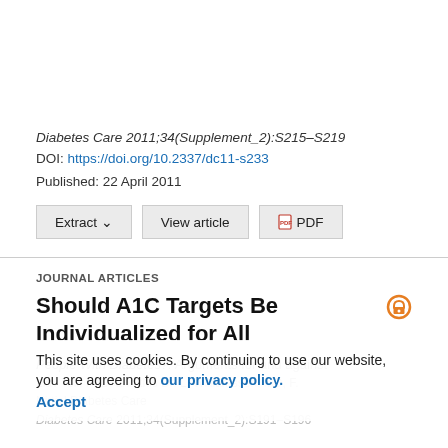Diabetes Care 2011;34(Supplement_2):S215–S219
DOI: https://doi.org/10.2337/dc11-s233
Published: 22 April 2011
JOURNAL ARTICLES
Should A1C Targets Be Individualized for All People With Diabetes?: Arguments for and against
This site uses cookies. By continuing to use our website, you are agreeing to our privacy policy. Accept